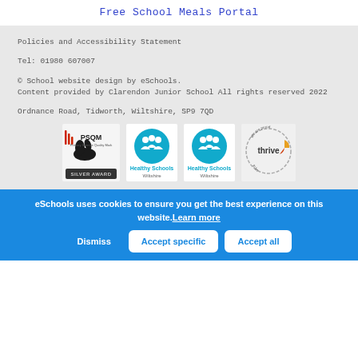Free School Meals Portal
Policies and Accessibility Statement
Tel: 01980 607007
© School website design by eSchools.
Content provided by Clarendon Junior School All rights reserved 2022
Ordnance Road, Tidworth, Wiltshire, SP9 7QD
[Figure (logo): PSQM Silver Award logo, Healthy Schools Wiltshire logo x2, thrive logo]
eSchools uses cookies to ensure you get the best experience on this website. Learn more
Dismiss | Accept specific | Accept all